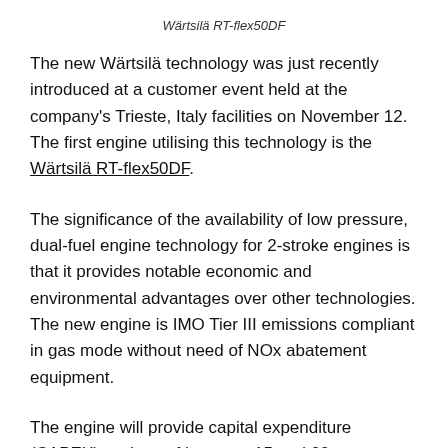Wärtsilä RT-flex50DF
The new Wärtsilä technology was just recently introduced at a customer event held at the company's Trieste, Italy facilities on November 12. The first engine utilising this technology is the Wärtsilä RT-flex50DF.
The significance of the availability of low pressure, dual-fuel engine technology for 2-stroke engines is that it provides notable economic and environmental advantages over other technologies. The new engine is IMO Tier III emissions compliant in gas mode without need of NOx abatement equipment.
The engine will provide capital expenditure (CAPEX) savings of between 15 and 20 per cent compared to other 2-stroke gas engine technologies currently on the market. This is possible due to...